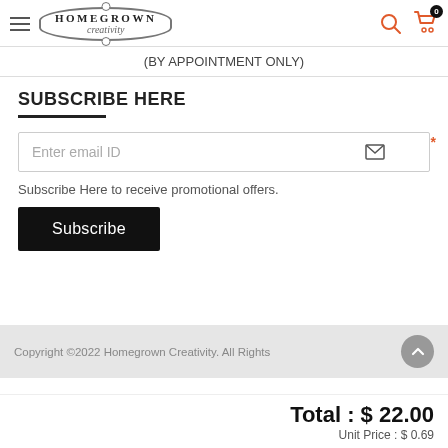Homegrown Creativity (logo header with hamburger menu, search and cart icons)
(BY APPOINTMENT ONLY)
SUBSCRIBE HERE
Enter email ID
Subscribe Here to receive promotional offers.
Subscribe
Copyright ©2022 Homegrown Creativity. All Rights
Total : $ 22.00
Unit Price : $ 0.69